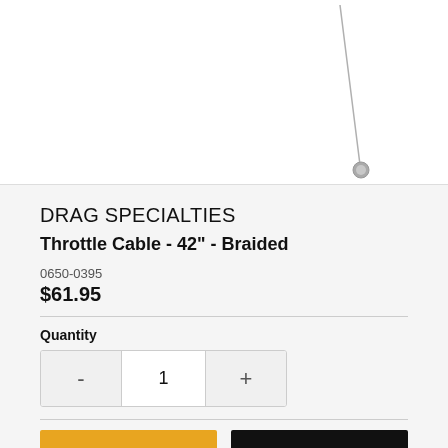[Figure (photo): Product image of a braided throttle cable on white background, showing a thin cable with a small metal end fitting, cable runs diagonally from upper right to lower right]
DRAG SPECIALTIES
Throttle Cable - 42" - Braided
0650-0395
$61.95
Quantity
- 1 +
ADD TO CART
BUY IT NOW